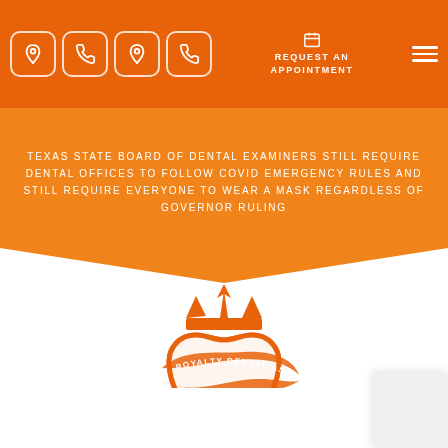[Figure (screenshot): Orange header navigation bar with four icon buttons (location pin, phone, location pin, phone) on the left; 'REQUEST AN APPOINTMENT' button with calendar icon in center-right; hamburger menu icon on far right.]
TEXAS STATE BOARD OF DENTAL EXAMINERS STILL REQUIRE DENTAL OFFICES TO FOLLOW COVID EMERGENCY RULES AND STILL REQUIRE EVERYONE TO WEAR A MASK REGARDLESS OF GOVERNOR RULING
[Figure (logo): Royalty Dental Associates logo: orange stylized tooth with crown on top and a swoosh ribbon with the practice name around it.]